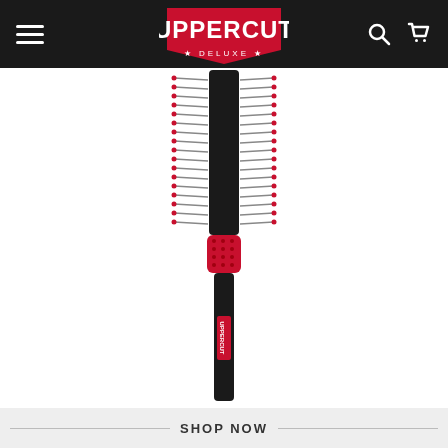Uppercut Deluxe — navigation header with logo, hamburger menu, search and cart icons
[Figure (photo): Uppercut Deluxe hair brush with black cylindrical barrel head containing double rows of metal bristles, a red textured rubber grip section, and a long black handle with Uppercut Deluxe branding, photographed on white background]
SHOP NOW